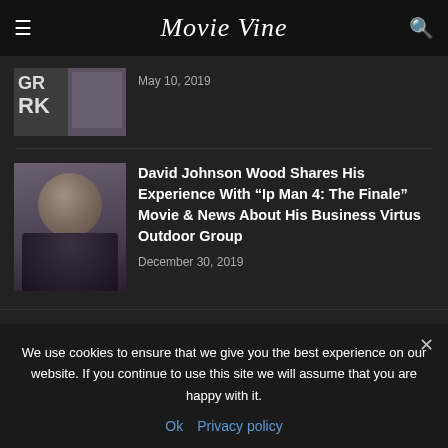Movie Vine
May 10, 2019
David Johnson Wood Shares His Experience With “Ip Man 4: The Finale” Movie & News About His Business Virtus Outdoor Group
December 30, 2019
POPULAR CATEGORY
News 949
We use cookies to ensure that we give you the best experience on our website. If you continue to use this site we will assume that you are happy with it.
Ok   Privacy policy